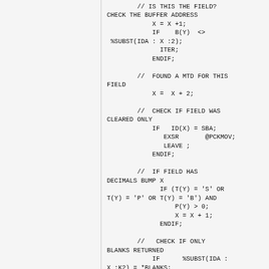[Figure (other): Source code listing in monospace font showing RPG/control language code with comments and conditional logic]